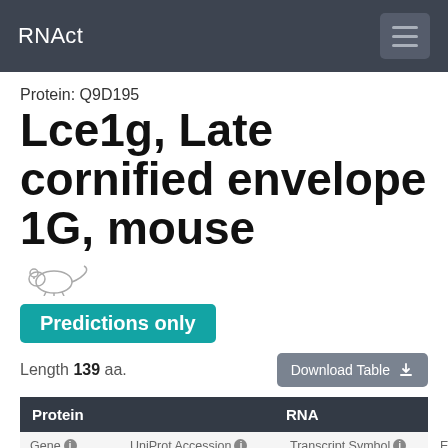RNAct
Protein: Q9D195
Lce1g, Late cornified envelope 1G, mouse
[Figure (illustration): Small mouse icon/logo illustration]
Predictions only
Length 139 aa.
| Protein |  | RNA |  |
| --- | --- | --- | --- |
| Gene | UniProt Accession | Transcript Symbol | Ensembl Tr |
| Lce1g | Q9D195 ↗ | Gm25239-201 | ENSMUS |